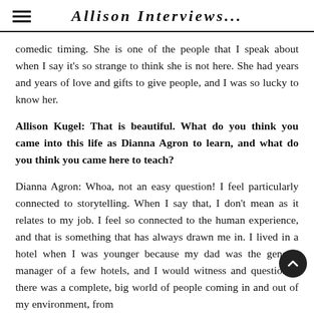Allison Interviews...
comedic timing. She is one of the people that I speak about when I say it’s so strange to think she is not here. She had years and years of love and gifts to give people, and I was so lucky to know her.
Allison Kugel: That is beautiful. What do you think you came into this life as Dianna Agron to learn, and what do you think you came here to teach?
Dianna Agron: Whoa, not an easy question! I feel particularly connected to storytelling. When I say that, I don’t mean as it relates to my job. I feel so connected to the human experience, and that is something that has always drawn me in. I lived in a hotel when I was younger because my dad was the general manager of a few hotels, and I would witness and question… there was a complete, big world of people coming in and out of my environment, from